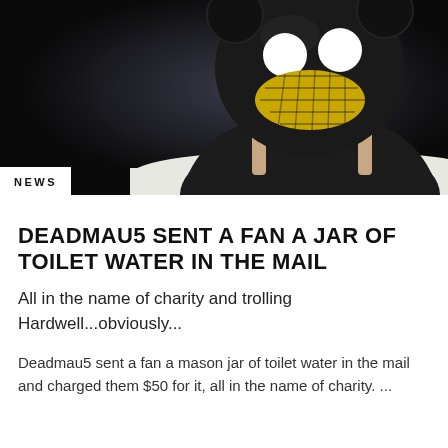[Figure (photo): Person wearing a large black deadmau5 mouse head helmet with white circular eyes and yellow mesh mouth, sitting at a table holding a fork and knife, with a large wedge of yellow cheese on a white plate in front of them. Dark background.]
NEWS
DEADMAU5 SENT A FAN A JAR OF TOILET WATER IN THE MAIL
All in the name of charity and trolling Hardwell...obviously...
Deadmau5 sent a fan a mason jar of toilet water in the mail and charged them $50 for it, all in the name of charity. ...